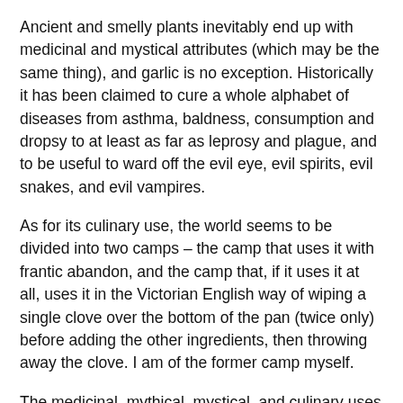Ancient and smelly plants inevitably end up with medicinal and mystical attributes (which may be the same thing), and garlic is no exception. Historically it has been claimed to cure a whole alphabet of diseases from asthma, baldness, consumption and dropsy to at least as far as leprosy and plague, and to be useful to ward off the evil eye, evil spirits, evil snakes, and evil vampires.
As for its culinary use, the world seems to be divided into two camps – the camp that uses it with frantic abandon, and the camp that, if it uses it at all, uses it in the Victorian English way of wiping a single clove over the bottom of the pan (twice only) before adding the other ingredients, then throwing away the clove. I am of the former camp myself.
The medicinal, mythical, mystical, and culinary uses come together nicely in something called 'Four Thieves Vinegar'. The story is that during an epidemic of the plague in Marseilles in 1722, four thieves made a good living from plundering the bodies of plague victims but escaped contagion themselves. They attributed their protection to the